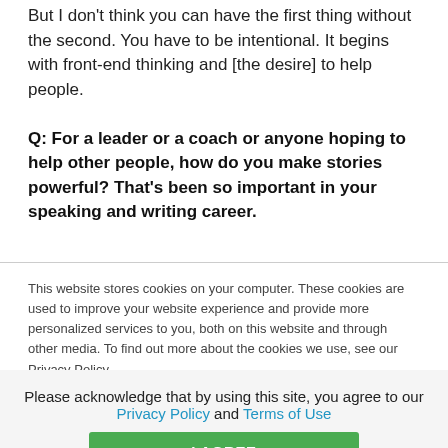But I don't think you can have the first thing without the second. You have to be intentional. It begins with front-end thinking and [the desire] to help people.
Q: For a leader or a coach or anyone hoping to help other people, how do you make stories powerful? That's been so important in your speaking and writing career.
This website stores cookies on your computer. These cookies are used to improve your website experience and provide more personalized services to you, both on this website and through other media. To find out more about the cookies we use, see our Privacy Policy.
We won't track your information when you visit our site. But in order to comply with your
Please acknowledge that by using this site, you agree to our Privacy Policy and Terms of Use
I AGREE